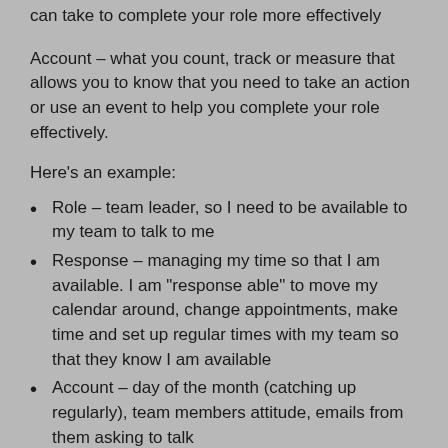can take to complete your role more effectively
Account – what you count, track or measure that allows you to know that you need to take an action or use an event to help you complete your role effectively.
Here's an example:
Role – team leader, so I need to be available to my team to talk to me
Response – managing my time so that I am available. I am "response able" to move my calendar around, change appointments, make time and set up regular times with my team so that they know I am available
Account – day of the month (catching up regularly), team members attitude, emails from them asking to talk
I really think that if we are asking people to become more "responsible" then we need to give them the ability to